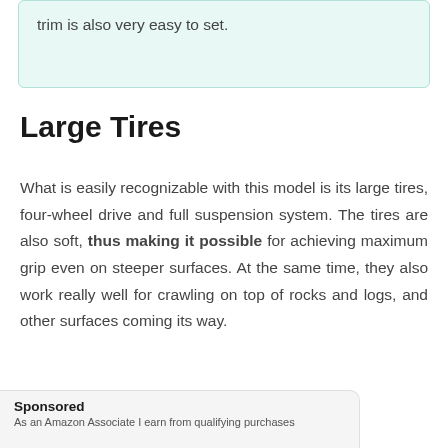trim is also very easy to set.
Large Tires
What is easily recognizable with this model is its large tires, four-wheel drive and full suspension system. The tires are also soft, thus making it possible for achieving maximum grip even on steeper surfaces. At the same time, they also work really well for crawling on top of rocks and logs, and other surfaces coming its way.
Sponsored
As an Amazon Associate I earn from qualifying purchases